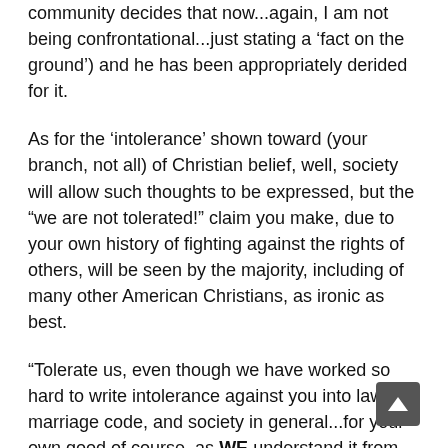community decides that now...again, I am not being confrontational...just stating a 'fact on the ground') and he has been appropriately derided for it.
As for the 'intolerance' shown toward (your branch, not all) of Christian belief, well, society will allow such thoughts to be expressed, but the "we are not tolerated!" claim you make, due to your own history of fighting against the rights of others, will be seen by the majority, including of many other American Christians, as ironic as best.
“Tolerate us, even though we have worked so hard to write intolerance against you into law, the marriage code, and society in general...for your own good of course, as WE understand it from OUR understanding of